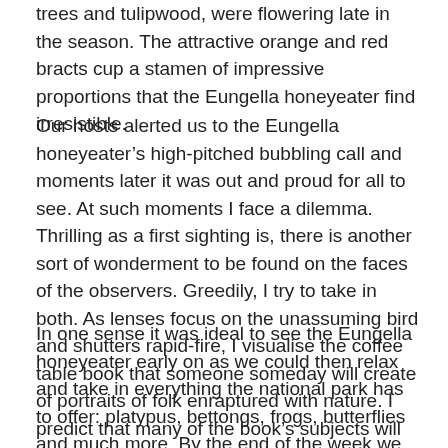trees and tulipwood, were flowering late in the season. The attractive orange and red bracts cup a stamen of impressive proportions that the Eungella honeyeater find irresistible.
Our hosts alerted us to the Eungella honeyeater's high-pitched bubbling call and moments later it was out and proud for all to see. At such moments I face a dilemma. Thrilling as a first sighting is, there is another sort of wonderment to be found on the faces of the observers. Greedily, I try to take in both. As lenses focus on the unassuming bird and shutters rapid-fire, I visualise the coffee table book that someone someday will create of portraits of folk enraptured with nature. I predict that many of the book's subjects will be bird watchers.
In one sense it was ideal to see the Eungella honeyeater early on as we could then relax and take in everything the national park has to offer: platypus, bettongs, frogs, butterflies and much more. By the end of the week we had seen a combined total of 125 bird species, and, encouragingly, the Eungella